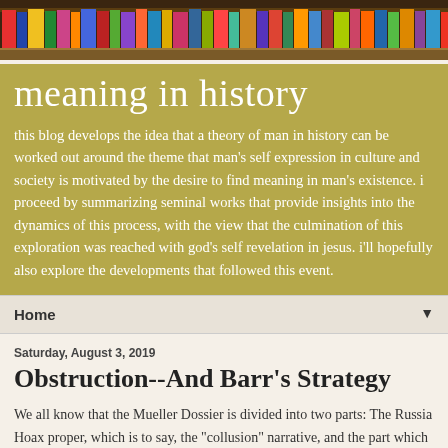[Figure (photo): Colorful bookshelf header image with many books arranged on shelves]
meaning in history
this blog develops the idea that a theory of man in history can be worked out around the theme that man's self expression in culture and society is motivated by the desire to find meaning in man's existence. i proceed by summarizing seminal works that provide insights into the dynamics of this process, with the view that the culmination of this exploration was reached with god's self revelation in jesus. i'll hopefully also explore the developments that followed this event.
Home ▼
Saturday, August 3, 2019
Obstruction--And Barr's Strategy
We all know that the Mueller Dossier is divided into two parts: The Russia Hoax proper, which is to say, the "collusion" narrative, and the part which became the focus for what do Trump's March…